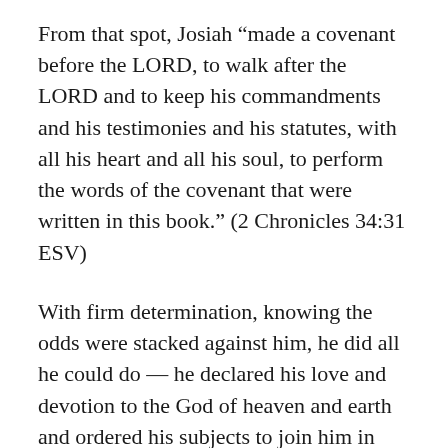From that spot, Josiah “made a covenant before the LORD, to walk after the LORD and to keep his commandments and his testimonies and his statutes, with all his heart and all his soul, to perform the words of the covenant that were written in this book.” (2 Chronicles 34:31 ESV)
With firm determination, knowing the odds were stacked against him, he did all he could do — he declared his love and devotion to the God of heaven and earth and ordered his subjects to join him in obeying God’s commands.
We’re told the people obeyed their king “as long as he lived” but reverted back to their old